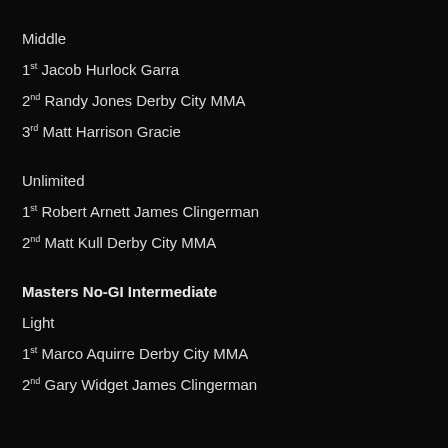Middle
1st Jacob Hurlock Garra
2nd Randy Jones Derby City MMA
3rd Matt Harrison Gracie
Unlimited
1st Robert Arnett James Clingerman
2nd Matt Kull Derby City MMA
Masters No-GI Intermediate
Light
1st Marco Aquirre Derby City MMA
2nd Gary Widget James Clingerman